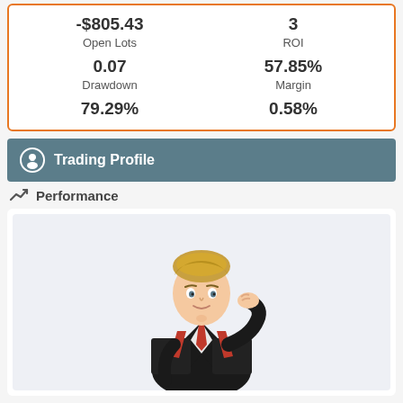| -$805.43 | 3 |
| Open Lots | ROI |
| 0.07 | 57.85% |
| Drawdown | Margin |
| 79.29% | 0.58% |
Trading Profile
Performance
[Figure (illustration): 3D animated character of a male trader in a black suit with red tie, in a thinking pose with hand on chin, on a light gray background.]